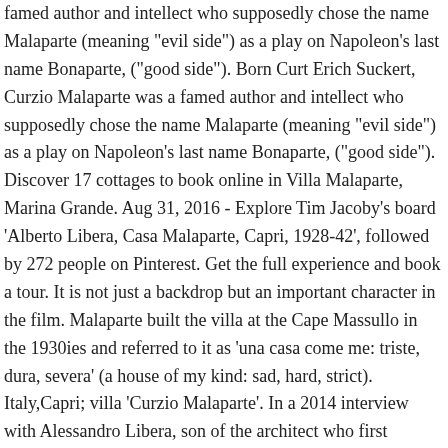famed author and intellect who supposedly chose the name Malaparte (meaning "evil side") as a play on Napoleon's last name Bonaparte, ("good side"). Born Curt Erich Suckert, Curzio Malaparte was a famed author and intellect who supposedly chose the name Malaparte (meaning "evil side") as a play on Napoleon's last name Bonaparte, ("good side"). Discover 17 cottages to book online in Villa Malaparte, Marina Grande. Aug 31, 2016 - Explore Tim Jacoby's board 'Alberto Libera, Casa Malaparte, Capri, 1928-42', followed by 272 people on Pinterest. Get the full experience and book a tour. It is not just a backdrop but an important character in the film. Malaparte built the villa at the Cape Massullo in the 1930ies and referred to it as 'una casa come me: triste, dura, severa' (a house of my kind: sad, hard, strict). Italy,Capri; villa 'Curzio Malaparte'. In a 2014 interview with Alessandro Libera, son of the architect who first worked with Malaparte, Libera said, "the people in Capri hated Malaparte for what he had written about them and their island … when he decided to build his villa, they wouldn't let him transport construction material across the island. Visitors to the island can admire it from afar from